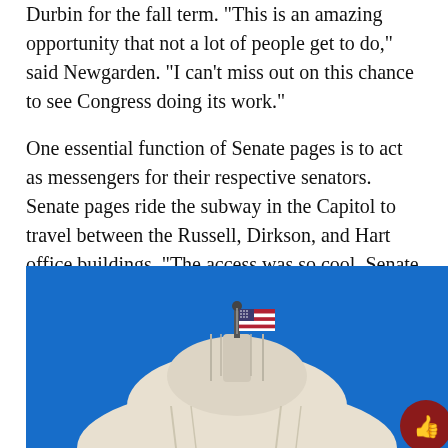Durbin for the fall term. “This is an amazing opportunity that not a lot of people get to do,” said Newgarden. “I can’t miss out on this chance to see Congress doing its work.”
One essential function of Senate pages is to act as messengers for their respective senators. Senate pages ride the subway in the Capitol to travel between the Russell, Dirkson, and Hart office buildings. “The access was so cool. Senate pages got to go to a bunch of places that most people didn’t,” said Newgarden.
[Figure (photo): Photo of the top of the US Capitol building dome with an American flag, against a bright blue sky.]